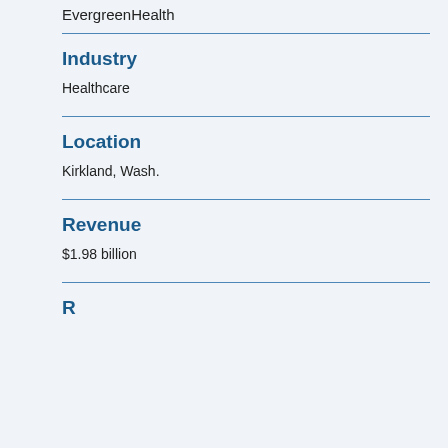EvergreenHealth
Industry
Healthcare
Location
Kirkland, Wash.
Revenue
$1.98 billion
R...